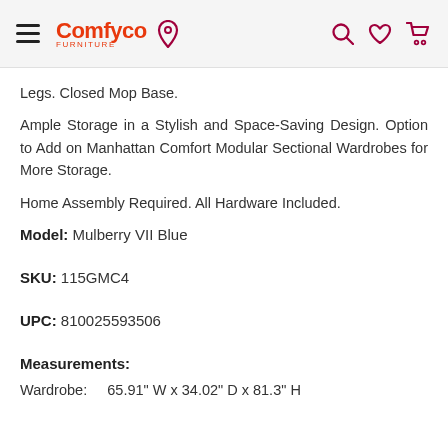Comfyco Furniture — navigation header with hamburger menu, logo, location pin, search, wishlist, and cart icons
Legs. Closed Mop Base.
Ample Storage in a Stylish and Space-Saving Design. Option to Add on Manhattan Comfort Modular Sectional Wardrobes for More Storage.
Home Assembly Required. All Hardware Included.
Model: Mulberry VII Blue
SKU: 115GMC4
UPC: 810025593506
Measurements:
Wardrobe:    65.91" W x 34.02" D x 81.3" H